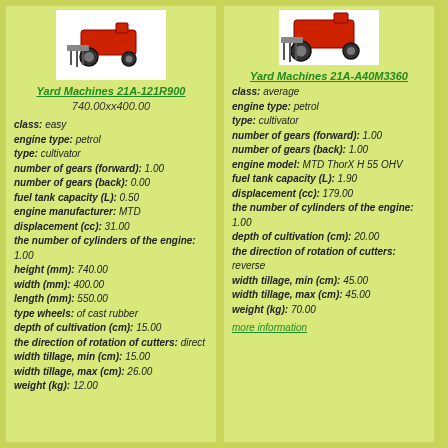[Figure (illustration): Yard Machines 21A-121R900 cultivator/tractor image]
Yard Machines 21A-121R900
740.00xx400.00
class: easy
engine type: petrol
type: cultivator
number of gears (forward): 1.00
number of gears (back): 0.00
fuel tank capacity (L): 0.50
engine manufacturer: MTD
displacement (cc): 31.00
the number of cylinders of the engine: 1.00
height (mm): 740.00
width (mm): 400.00
length (mm): 550.00
type wheels: of cast rubber
depth of cultivation (cm): 15.00
the direction of rotation of cutters: direct
width tillage, min (cm): 15.00
width tillage, max (cm): 26.00
weight (kg): 12.00
[Figure (illustration): Yard Machines 21A-A40M3360 cultivator/tractor image]
Yard Machines 21A-A40M3360
class: average
engine type: petrol
type: cultivator
number of gears (forward): 1.00
number of gears (back): 1.00
engine model: MTD ThorX H 55 OHV
fuel tank capacity (L): 1.90
displacement (cc): 179.00
the number of cylinders of the engine: 1.00
depth of cultivation (cm): 20.00
the direction of rotation of cutters: reverse
width tillage, min (cm): 45.00
width tillage, max (cm): 45.00
weight (kg): 70.00
more information